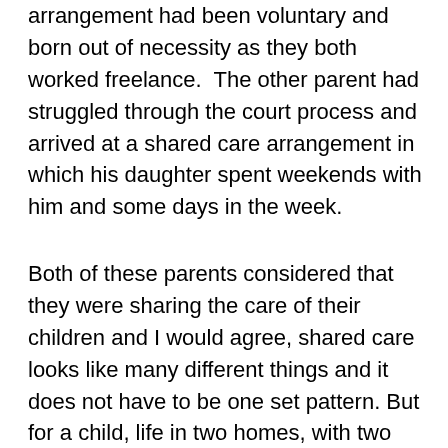arrangement had been voluntary and born out of necessity as they both worked freelance.  The other parent had struggled through the court process and arrived at a shared care arrangement in which his daughter spent weekends with him and some days in the week.
Both of these parents considered that they were sharing the care of their children and I would agree, shared care looks like many different things and it does not have to be one set pattern. But for a child, life in two homes, with two separated parents can be made easier or much harder by the skills that their parents possess in supporting their ability to make the transition from one place to the other.  And when children struggle with the transition, stepping up with higher level skills and